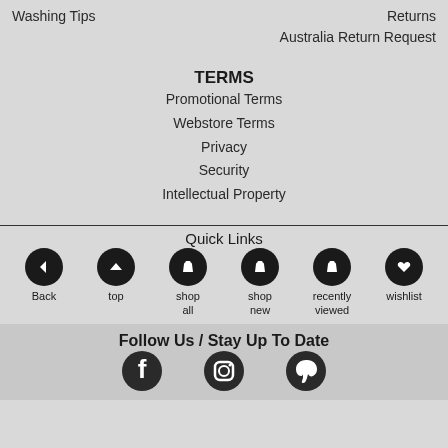Washing Tips
Returns
Australia Return Request
TERMS
Promotional Terms
Webstore Terms
Privacy
Security
Intellectual Property
Quick Links
Back
top
shop all
shop new
recently viewed
wishlist
Follow Us / Stay Up To Date